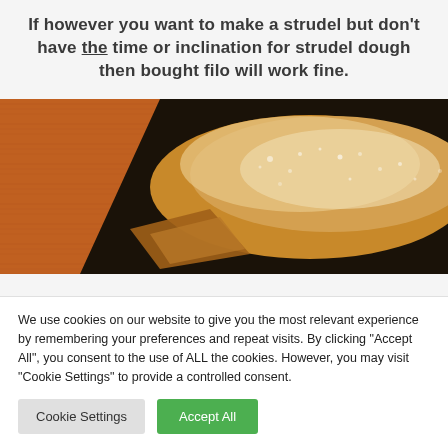If however you want to make a strudel but don't have the time or inclination for strudel dough then bought filo will work fine.
[Figure (photo): Close-up photo of a strudel pastry dusted with powdered sugar, showing flaky layers on a dark surface.]
We use cookies on our website to give you the most relevant experience by remembering your preferences and repeat visits. By clicking "Accept All", you consent to the use of ALL the cookies. However, you may visit "Cookie Settings" to provide a controlled consent.